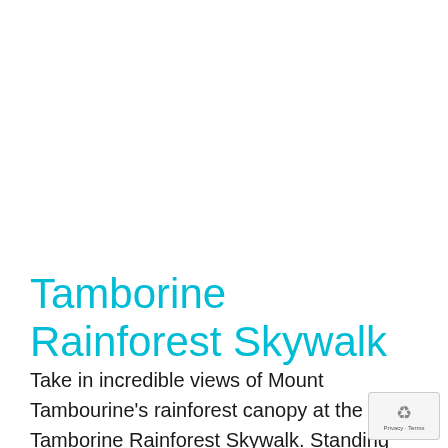Tamborine Rainforest Skywalk
Take in incredible views of Mount Tambourine's rainforest canopy at the Tamborine Rainforest Skywalk. Standing 30m above Cedar Creek Falls, this fully accessible boardwalk is a must do. Relax in nature as